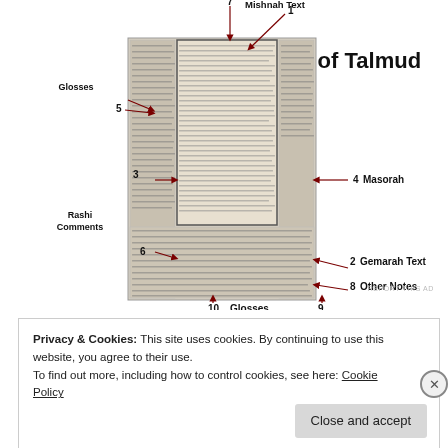[Figure (schematic): Annotated diagram of a Page of Talmud showing labeled sections: 1 Mishnah Text, 2 Gemarah Text, 3 Rashi Comments, 4 Masorah, 5 Glosses (top left), 6 (bottom left), 7 (top center), 8 Other Notes, 9 Glosses (bottom right), 10 Glosses (bottom center). Arrows point to different regions of a dense Hebrew text page image.]
Page of Talmud
Privacy & Cookies: This site uses cookies. By continuing to use this website, you agree to their use.
To find out more, including how to control cookies, see here: Cookie Policy
Close and accept